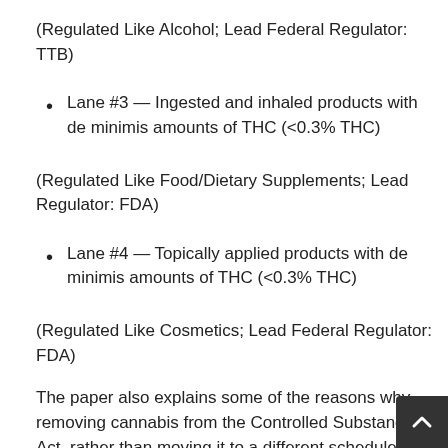(Regulated Like Alcohol; Lead Federal Regulator: TTB)
Lane #3 — Ingested and inhaled products with de minimis amounts of THC (<0.3% THC)
(Regulated Like Food/Dietary Supplements; Lead Regulator: FDA)
Lane #4 — Topically applied products with de minimis amounts of THC (<0.3% THC)
(Regulated Like Cosmetics; Lead Federal Regulator: FDA)
The paper also explains some of the reasons why removing cannabis from the Controlled Substances Act, rather than moving it to a different schedule, is necessary for the effective implementation of federal regulations.
“This approach will help us protect consumers, foster research, and provide guidance for the growing numbe